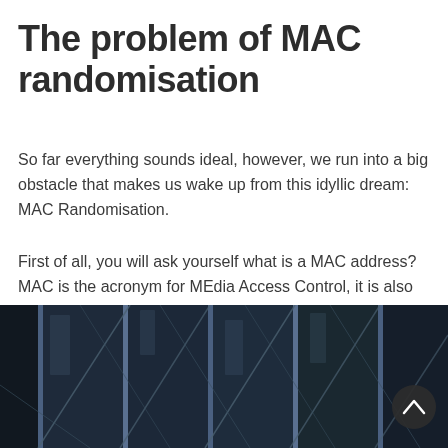The problem of MAC randomisation
So far everything sounds ideal, however, we run into a big obstacle that makes us wake up from this idyllic dream: MAC Randomisation.
First of all, you will ask yourself what is a MAC address? MAC is the acronym for MEdia Access Control, it is also called a physical address. We can say that the MAC Address is the original license plate of the passenger's device that is connected to a network: an identifier assigned by the manufacturer.
[Figure (photo): Dark architectural photograph showing a glass curtain wall or building facade with vertical and diagonal structural elements, viewed from below at an angle, with blue-tinted glass panels and steel framing against a dark background.]